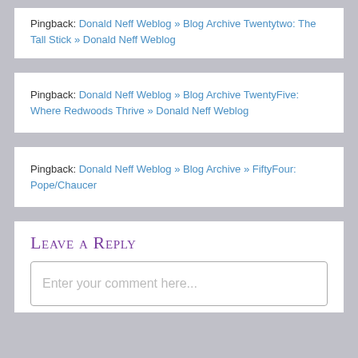Pingback: Donald Neff Weblog » Blog Archive Twentytwo: The Tall Stick » Donald Neff Weblog
Pingback: Donald Neff Weblog » Blog Archive TwentyFive: Where Redwoods Thrive » Donald Neff Weblog
Pingback: Donald Neff Weblog » Blog Archive » FiftyFour: Pope/Chaucer
Leave a Reply
Enter your comment here...